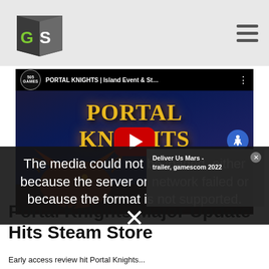GS (GameSpot) logo and navigation header
[Figure (screenshot): Embedded YouTube video thumbnail for Portal Knights showing game art with dragons, the Portal Knights title in gold, and a red YouTube play button. A second video popup for 'Deliver Us Mars - gamescom 2022' appears in the corner. An error overlay reads: 'The media could not be loaded, either because the server or network failed or because the format is not supported.']
Portal Knights Major Update Hits Steam Store
Early access review hit Portal Knights...